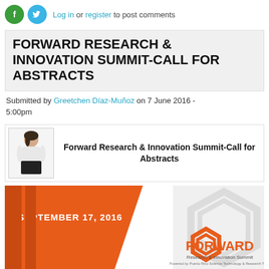Log in or register to post comments
FORWARD RESEARCH & INNOVATION SUMMIT-CALL FOR ABSTRACTS
Submitted by Greetchen Díaz-Muñoz on 7 June 2016 - 5:00pm
[Figure (photo): Preview thumbnail of a woman in a white blouse and black skirt, next to bold text reading 'Forward Research & Innovation Summit-Call for Abstracts']
[Figure (infographic): Orange and white promotional banner for the Forward Research & Innovation Summit on September 17, 2016, with the FORWARD hexagon logo and text 'Research & Innovation Summit, Powered by Puerto Rico Science Technology & Research Trust']